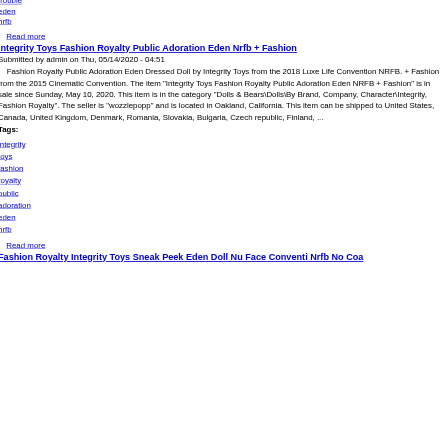trouble
eden
nrfb
Read more
Integrity Toys Fashion Royalty Public Adoration Eden Nrfb + Fashion
Submitted by admin on Thu, 05/14/2020 - 04:51
Fashion Royalty Public Adoration Eden Dressed Doll by Integrity Toys from the 2018 Luxe Life Convention NRFB. + Fashion from the 2015 Cinematic Convention. The item "Integrity Toys Fashion Royalty Public Adoration Eden NRFB + Fashion" is in sale since Sunday, May 10, 2020. This item is in the category "Dolls & Bears\Dolls\By Brand, Company, Character\Integrity, Fashion Royalty". The seller is "wozzlepopp" and is located in Oakland, California. This item can be shipped to United States, Canada, United Kingdom, Denmark, Romania, Slovakia, Bulgaria, Czech republic, Finland, ...
Tags:
integrity
toys
fashion
royalty
public
adoration
eden
nrfb
Read more
Fashion Royalty Integrity Toys Sneak Peek Eden Doll Nu Face Conventi Nrfb No Coa